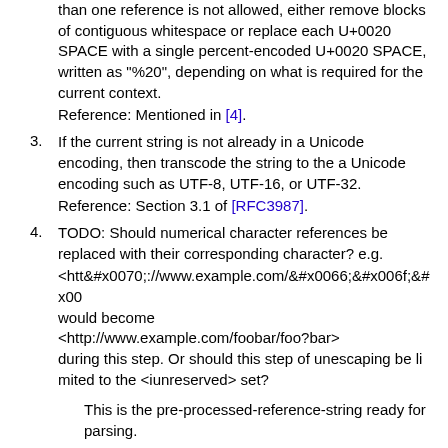than one reference is not allowed, either remove blocks of contiguous whitespace or replace each U+0020 SPACE with a single percent-encoded U+0020 SPACE, written as "%20", depending on what is required for the current context.
Reference: Mentioned in [4].
3. If the current string is not already in a Unicode encoding, then transcode the string to the a Unicode encoding such as UTF-8, UTF-16, or UTF-32.
Reference: Section 3.1 of [RFC3987].
4. TODO: Should numerical character references be replaced with their corresponding character? e.g.
<htt&#x0070;://www.example.com/&#x0066;&#x006f;&#x00…
would become
<http://www.example.com/foobar/foo?bar>
during this step. Or should this step of unescaping be limited to the <iunreserved> set?
This is the pre-processed-reference-string ready for parsing.
5. Parsing Unicode Strings into IRI Components
With an arbitrary IRI string that has been through pre-processing, referred to as the "pre-processed-reference-string", this section describes the subsequent process of parsing the string into its five major IRI sub-components using rules defined by [RFC3896] (using an algorithm equivalent to Appendix B of